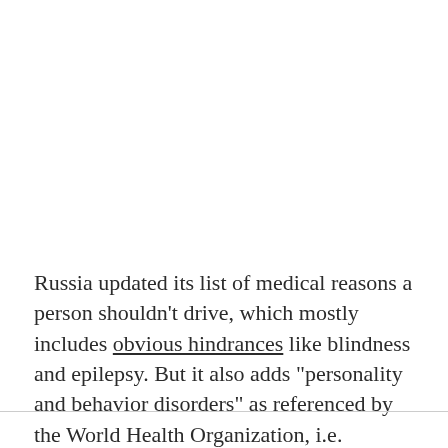Russia updated its list of medical reasons a person shouldn't drive, which mostly includes obvious hindrances like blindness and epilepsy. But it also adds "personality and behavior disorders" as referenced by the World Health Organization, i.e. fetishism, compulsive gambling, and being transgender.